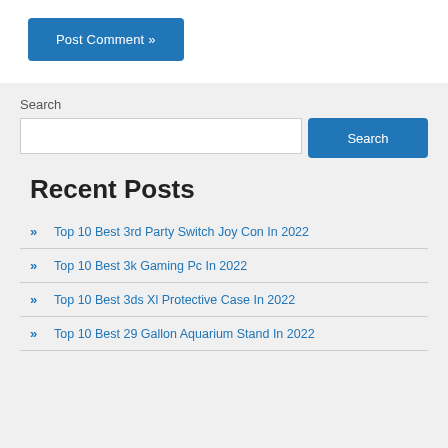[Figure (screenshot): Post Comment button — blue rounded rectangle with white text 'Post Comment »']
Search
[Figure (screenshot): Search input field with a blue 'Search' button to the right]
Recent Posts
Top 10 Best 3rd Party Switch Joy Con In 2022
Top 10 Best 3k Gaming Pc In 2022
Top 10 Best 3ds Xl Protective Case In 2022
Top 10 Best 29 Gallon Aquarium Stand In 2022